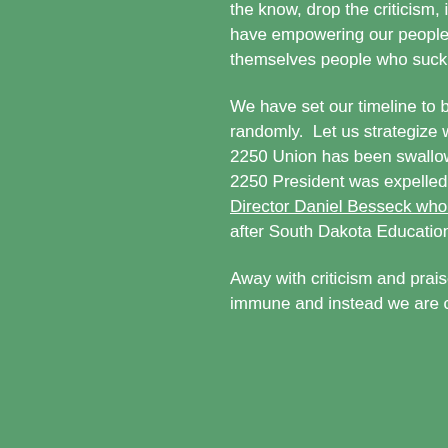the know, drop the criticism, ignore the oppressors content that fuel and watch them damage themselves. We have empowering our people through ways that makes their and better in understanding ways to wrestle themselves people who suck them dry by manipulating their ignora.
We have set our timeline to be accessed by our FRIEN want unnecessary diversions and babble debates. Let's randomly. Let us strategize wisely and intelligently no m we may be, we shall be there! In the last several weeks 2250 Union has been swallowed silently by Maryland S Association (MSEA) without membership consent. The 2250 President was expelled in suspicious circumstanc another story for another day. Previous ACE-AFSCME Director Daniel Besseck who threatened a senator and grievances has been promoted by MSEA in unclear cir after South Dakota Education Association – NEA reject fired him in March 2014.
Away with criticism and praises! Even though Criticism than one, it appears not working in some areas at the m immune and instead we are creating heroes and heroir